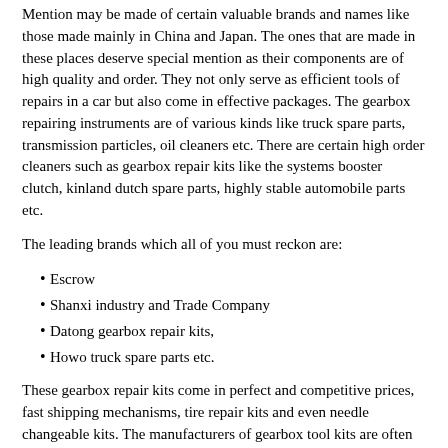Mention may be made of certain valuable brands and names like those made mainly in China and Japan. The ones that are made in these places deserve special mention as their components are of high quality and order. They not only serve as efficient tools of repairs in a car but also come in effective packages. The gearbox repairing instruments are of various kinds like truck spare parts, transmission particles, oil cleaners etc. There are certain high order cleaners such as gearbox repair kits like the systems booster clutch, kinland dutch spare parts, highly stable automobile parts etc.
The leading brands which all of you must reckon are:
Escrow
Shanxi industry and Trade Company
Datong gearbox repair kits,
Howo truck spare parts etc.
These gearbox repair kits come in perfect and competitive prices, fast shipping mechanisms, tire repair kits and even needle changeable kits. The manufacturers of gearbox tool kits are often cost effective in nature and serve the consumer to the maximum giving ultimate satisfaction. Some brands do not take orders less than ten packages and are priced moderately. The prices range between 10$ on the lower margin to about 150$ to 200$ on the upper margin.